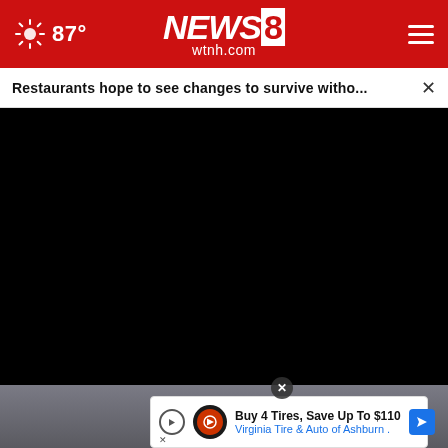NEWS 8 wtnh.com — 87°
Restaurants hope to see changes to survive witho...
[Figure (screenshot): Black video player area with play and mute controls, and fullscreen expand icon]
[Figure (photo): Partially visible photo of a woman with white/blonde hair and dark-rimmed glasses]
Buy 4 Tires, Save Up To $110 — Virginia Tire & Auto of Ashburn .